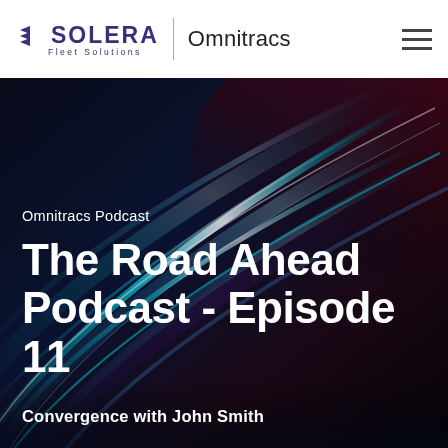Solera Fleet Solutions | Omnitracs
[Figure (photo): Abstract dark background with streaks of blue, teal, and red light suggesting motion/speed on a dark surface, used as the hero background for the podcast page.]
Omnitracs Podcast
The Road Ahead Podcast - Episode 11
Convergence with John Smith